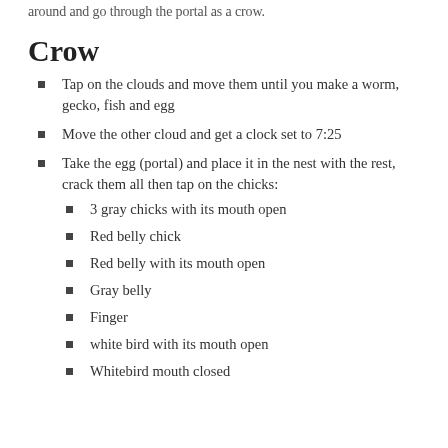around and go through the portal as a crow.
Crow
Tap on the clouds and move them until you make a worm, gecko, fish and egg
Move the other cloud and get a clock set to 7:25
Take the egg (portal) and place it in the nest with the rest, crack them all then tap on the chicks:
3 gray chicks with its mouth open
Red belly chick
Red belly with its mouth open
Gray belly
Finger
white bird with its mouth open
Whitebird mouth closed